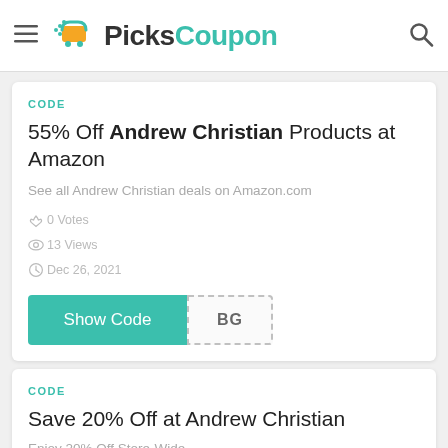PicksCoupon
CODE
55% Off Andrew Christian Products at Amazon
See all Andrew Christian deals on Amazon.com
0 Votes
13 Views
Dec 26, 2021
Show Code BG
CODE
Save 20% Off at Andrew Christian
Enjoy 20% Off Store-Wide
0 Votes